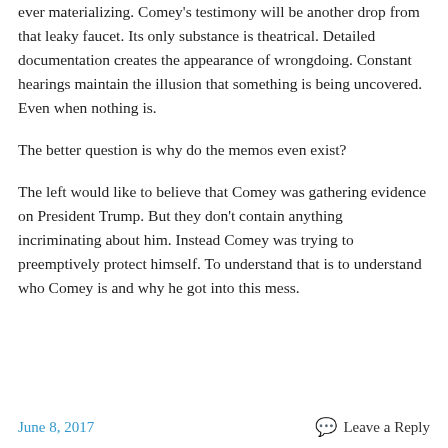ever materializing. Comey's testimony will be another drop from that leaky faucet. Its only substance is theatrical. Detailed documentation creates the appearance of wrongdoing. Constant hearings maintain the illusion that something is being uncovered. Even when nothing is.
The better question is why do the memos even exist?
The left would like to believe that Comey was gathering evidence on President Trump. But they don't contain anything incriminating about him. Instead Comey was trying to preemptively protect himself. To understand that is to understand who Comey is and why he got into this mess.
June 8, 2017    Leave a Reply